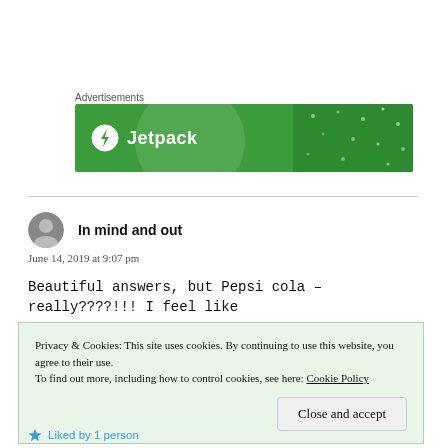Advertisements
[Figure (logo): Jetpack advertisement banner — green background with Jetpack logo (lightning bolt in circle) and text 'Jetpack']
In mind and out
June 14, 2019 at 9:07 pm
Beautiful answers, but Pepsi cola – really????!!! I feel like
Privacy & Cookies: This site uses cookies. By continuing to use this website, you agree to their use.
To find out more, including how to control cookies, see here: Cookie Policy
Close and accept
Liked by 1 person